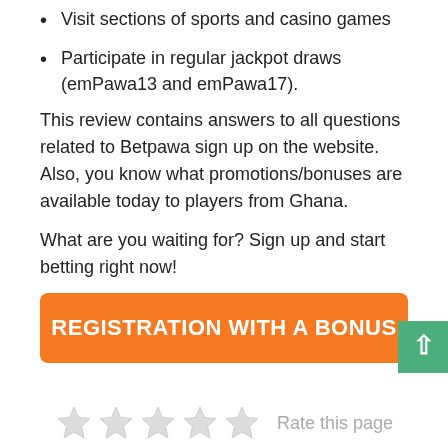Visit sections of sports and casino games
Participate in regular jackpot draws (emPawa13 and emPawa17).
This review contains answers to all questions related to Betpawa sign up on the website. Also, you know what promotions/bonuses are available today to players from Ghana.
What are you waiting for? Sign up and start betting right now!
REGISTRATION WITH A BONUS
Rate this page